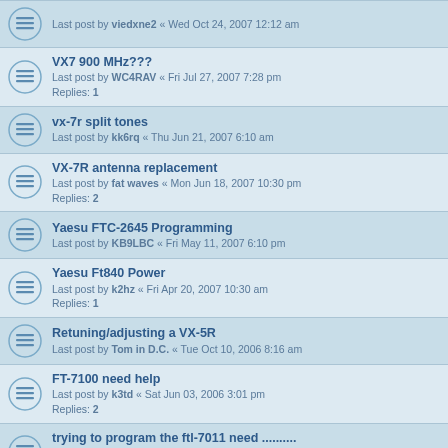Last post by viedxne2 « Wed Oct 24, 2007 12:12 am
VX7 900 MHz???
Last post by WC4RAV « Fri Jul 27, 2007 7:28 pm
Replies: 1
vx-7r split tones
Last post by kk6rq « Thu Jun 21, 2007 6:10 am
VX-7R antenna replacement
Last post by fat waves « Mon Jun 18, 2007 10:30 pm
Replies: 2
Yaesu FTC-2645 Programming
Last post by KB9LBC « Fri May 11, 2007 6:10 pm
Yaesu Ft840 Power
Last post by k2hz « Fri Apr 20, 2007 10:30 am
Replies: 1
Retuning/adjusting a VX-5R
Last post by Tom in D.C. « Tue Oct 10, 2006 8:16 am
FT-7100 need help
Last post by k3td « Sat Jun 03, 2006 3:01 pm
Replies: 2
trying to program the ftl-7011 need ..........
Last post by Nittfo « Mon Apr 10, 2006 1:04 pm
Replies: 1
transfering programed frequencies from a VX-5R to a VX-7R
Last post by XTS5000r « Wed Apr 05, 2006 7:18 am
Replies: 1
VX-4000 Dual Band